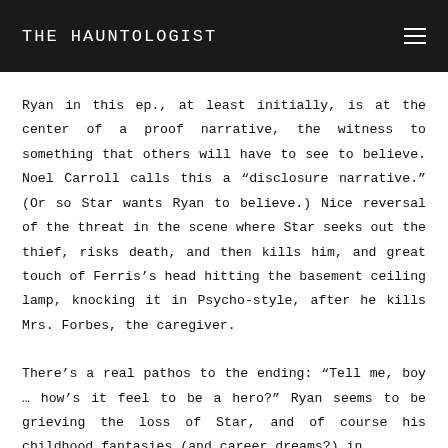THE HAUNTOLOGIST
Ryan in this ep., at least initially, is at the center of a proof narrative, the witness to something that others will have to see to believe. Noel Carroll calls this a "disclosure narrative." (Or so Star wants Ryan to believe.) Nice reversal of the threat in the scene where Star seeks out the thief, risks death, and then kills him, and great touch of Ferris's head hitting the basement ceiling lamp, knocking it in Psycho-style, after he kills Mrs. Forbes, the caregiver.
There’s a real pathos to the ending: “Tell me, boy … how’s it feel to be a hero?” Ryan seems to be grieving the loss of Star, and of course his childhood fantasies (and career dreams?) in